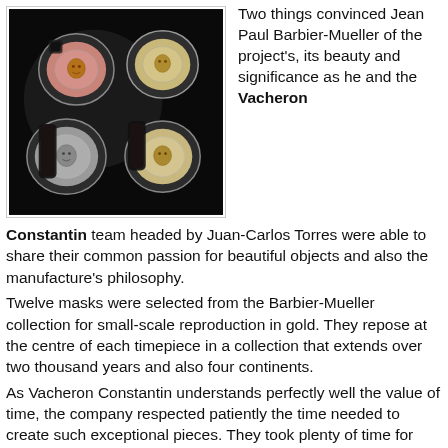[Figure (photo): Four luxury watches with ornate dials featuring decorative masks, arranged on a dark background. The watches have leather straps and appear to be Vacheron Constantin timepieces.]
Two things convinced Jean Paul Barbier-Mueller of the project's, its beauty and significance as he and the Vacheron Constantin team headed by Juan-Carlos Torres were able to share their common passion for beautiful objects and also the manufacture's philosophy.
Twelve masks were selected from the Barbier-Mueller collection for small-scale reproduction in gold. They repose at the centre of each timepiece in a collection that extends over two thousand years and also four continents.
As Vacheron Constantin understands perfectly well the value of time, the company respected patiently the time needed to create such exceptional pieces. They took plenty of time for questioning, reflection and invention so as to assure themselves that the spirit of this special tribute to ancient societies.
A complete set of the twelve timepieces reproducing the